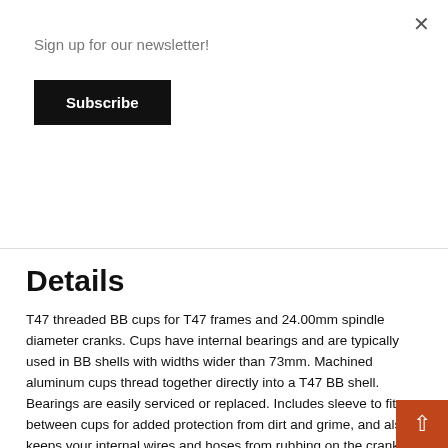Sign up for our newsletter!
Subscribe
Details
T47 threaded BB cups for T47 frames and 24.00mm spindle diameter cranks. Cups have internal bearings and are typically used in BB shells with widths wider than 73mm. Machined aluminum cups thread together directly into a T47 BB shell. Bearings are easily serviced or replaced. Includes sleeve to fit between cups for added protection from dirt and grime, and also keeps your internal wires and hoses from rubbing on the crank spindle.
T47 BB cups are similar to standard BSA threaded cups in that the drive side cup is left-hand thread and the non-drive side cup is right-hand thread. Use a quality grease when installing in steel or aluminum BB shells, and an anti-seize